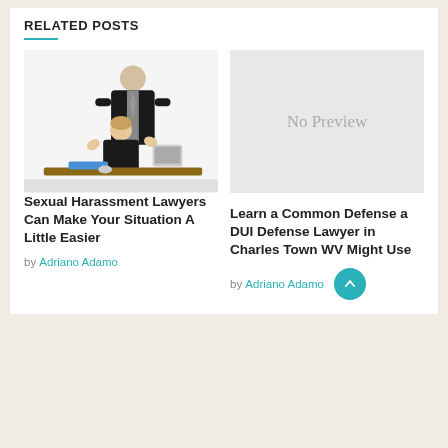RELATED POSTS
[Figure (photo): Two people in an office setting: a man in a suit standing over a woman at a desk who has her hands raised.]
[Figure (illustration): No Preview placeholder box with light gray background and text 'No Preview'.]
Sexual Harassment Lawyers Can Make Your Situation A Little Easier
by Adriano Adamo
Learn a Common Defense a DUI Defense Lawyer in Charles Town WV Might Use
by Adriano Adamo